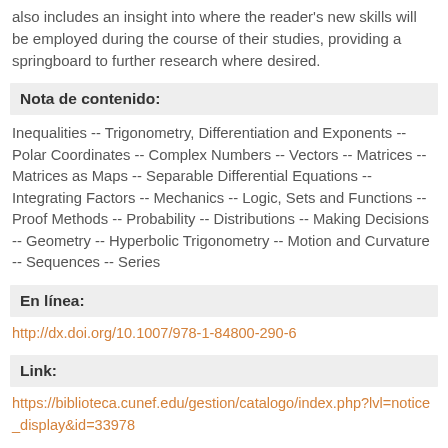also includes an insight into where the reader's new skills will be employed during the course of their studies, providing a springboard to further research where desired.
Nota de contenido:
Inequalities -- Trigonometry, Differentiation and Exponents -- Polar Coordinates -- Complex Numbers -- Vectors -- Matrices -- Matrices as Maps -- Separable Differential Equations -- Integrating Factors -- Mechanics -- Logic, Sets and Functions -- Proof Methods -- Probability -- Distributions -- Making Decisions -- Geometry -- Hyperbolic Trigonometry -- Motion and Curvature -- Sequences -- Series
En línea:
http://dx.doi.org/10.1007/978-1-84800-290-6
Link:
https://biblioteca.cunef.edu/gestion/catalogo/index.php?lvl=notice_display&id=33978